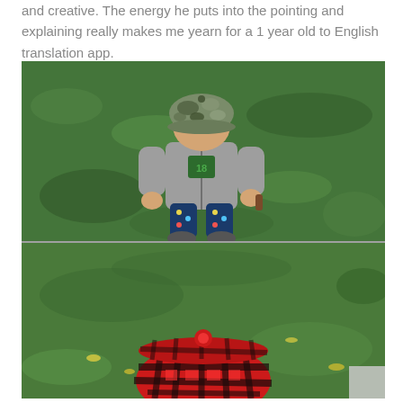and creative. The energy he puts into the pointing and explaining really makes me yearn for a 1 year old to English translation app.
[Figure (photo): Two photos stacked: top photo shows a toddler wearing a camouflage cap and grey zip-up hoodie with '18' on it, colorful patterned pants, standing on green grass viewed from above. Bottom photo shows a person wearing a red and black plaid/buffalo check beanie hat, viewed from above on green grass with yellow leaves.]